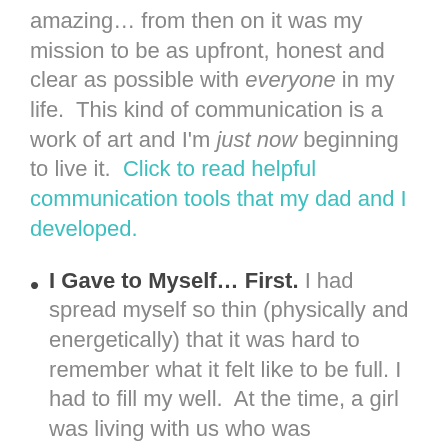amazing… from then on it was my mission to be as upfront, honest and clear as possible with everyone in my life.  This kind of communication is a work of art and I'm just now beginning to live it.  Click to read helpful communication tools that my dad and I developed.
I Gave to Myself… First. I had spread myself so thin (physically and energetically) that it was hard to remember what it felt like to be full. I had to fill my well.  At the time, a girl was living with us who was